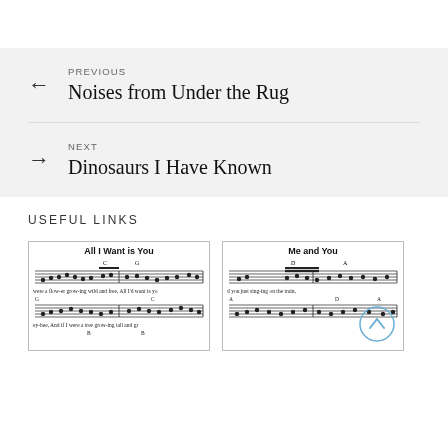PREVIOUS
Noises from Under the Rug
NEXT
Dinosaurs I Have Known
USEFUL LINKS
[Figure (screenshot): Thumbnail of sheet music titled 'All I Want is You' with musical staves and lyrics: 'were a flow-er grow-ing wild and free, All I'd want is yo...' and 'ey-bee, And if I were a tree grow-ing tall and gr...']
[Figure (screenshot): Thumbnail of sheet music titled 'Me and You' with musical staves and lyrics: 'd you just sing-ing on the train,' with a circular scroll-up button overlay]